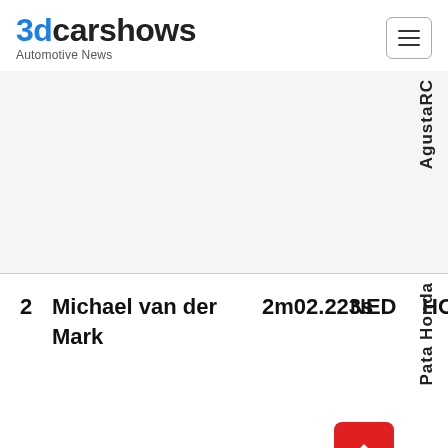3dcarshows Automotive News
| # | Name | Time | Nat | Brand | Team |
| --- | --- | --- | --- | --- | --- |
|  |  |  |  |  | AgustaRC |
| 2 | Michael van der Mark | 2m02.223s | NED | HONDA | Pata Honda |